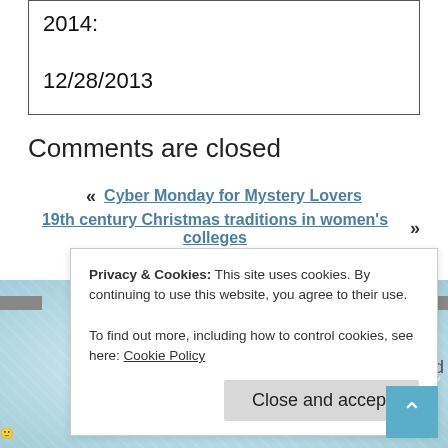2014:
12/28/2013
Comments are closed
« Cyber Monday for Mystery Lovers
19th century Christmas traditions in women's colleges »
Privacy & Cookies: This site uses cookies. By continuing to use this website, you agree to their use.
To find out more, including how to control cookies, see here: Cookie Policy
Close and accept